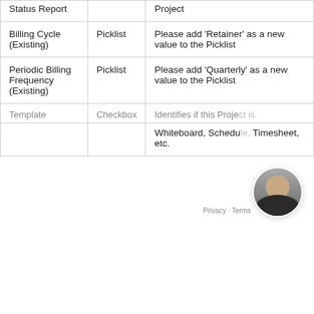| Field Name | Field Type | Description/Notes |
| --- | --- | --- |
| Status Report |  | Project |
| Billing Cycle (Existing) | Picklist | Please add ‘Retainer’ as a new value to the Picklist |
| Periodic Billing Frequency (Existing) | Picklist | Please add ‘Quarterly’ as a new value to the Picklist |
| Template | Checkbox | Identifies if this Project is ... |
|  |  | Whiteboard, Schedule, Timesheet, etc. |
[Figure (screenshot): Chat widget overlay with waving hand emoji, message 'Howdy, get a really quick answer from a really real person! :)', Chat now button, Just browsing button, and message input field]